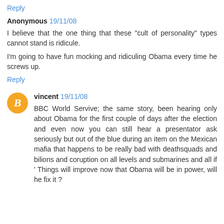Reply
Anonymous 19/11/08
I believe that the one thing that these "cult of personality" types cannot stand is ridicule.
I'm going to have fun mocking and ridiculing Obama every time he screws up.
Reply
vincent 19/11/08
BBC World Servive; the same story, been hearing only about Obama for the first couple of days after the election and even now you can still hear a presentator ask seriously but out of the blue during an item on the Mexican mafia that happens to be really bad with deathsquads and bilions and coruption on all levels and submarines and all if ' Things will improve now that Obama will be in power, will he fix it ?